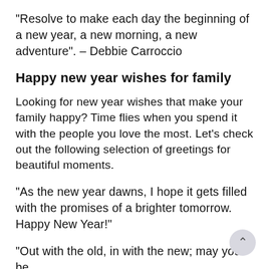“Resolve to make each day the beginning of a new year, a new morning, a new adventure”. – Debbie Carroccio
Happy new year wishes for family
Looking for new year wishes that make your family happy? Time flies when you spend it with the people you love the most. Let’s check out the following selection of greetings for beautiful moments.
“As the new year dawns, I hope it gets filled with the promises of a brighter tomorrow. Happy New Year!”
“Out with the old, in with the new; may you be